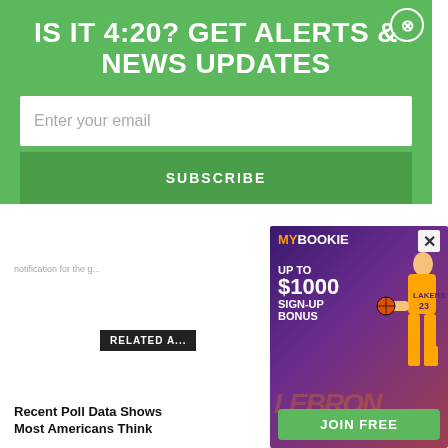IS IT 4:20? GET ALERTS & NEWS UPDATES
Enter your email
SUBSCRIBE
RELATED A...
[Figure (screenshot): MyBookie sports betting advertisement featuring a Lakers player (jersey #23) with text: MY BOOKIE, UP TO $1000 SIGN-UP BONUS, JOIN FREE, LEBRON watermark]
Recent Poll Data Shows Most Americans Think